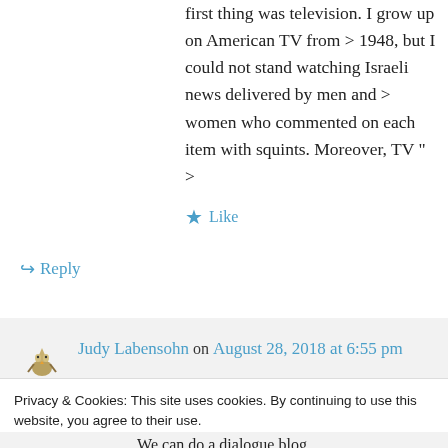first thing was television. I grow up on American TV from > 1948, but I could not stand watching Israeli news delivered by men and > women who commented on each item with squints. Moreover, TV " >
★ Like
↳ Reply
Judy Labensohn on August 28, 2018 at 6:55 pm
Privacy & Cookies: This site uses cookies. By continuing to use this website, you agree to their use. To find out more, including how to control cookies, see here: Cookie Policy
Close and accept
We can do a dialogue blog.